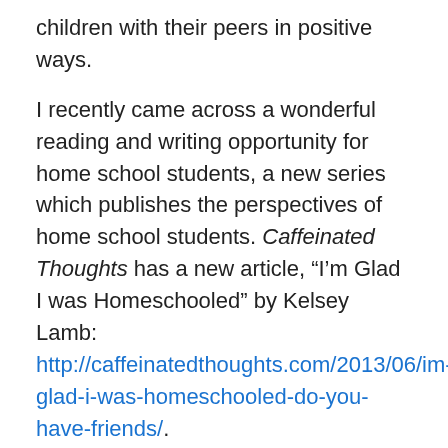children with their peers in positive ways.
I recently came across a wonderful reading and writing opportunity for home school students, a new series which publishes the perspectives of home school students. Caffeinated Thoughts has a new article, “I’m Glad I was Homeschooled” by Kelsey Lamb: http://caffeinatedthoughts.com/2013/06/im-glad-i-was-homeschooled-do-you-have-friends/.
It provides an interesting perspective and challenges one of the many assumptions others make about children who are home schooled.
If you or your child is interested in submitting an essay about your experience, go here.
http://caffeinatedthoughts.com/contact-us/